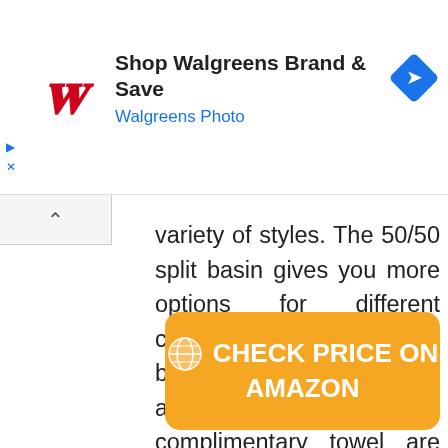[Figure (other): Walgreens advertisement banner with red cursive W logo, text 'Shop Walgreens Brand & Save' and 'Walgreens Photo' in blue, and a blue diamond-shaped navigation arrow icon on the right]
variety of styles. The 50/50 split basin gives you more options for different culinary jobs. Besides, a basket strainer drain assembly and a complimentary towel are included with the product for your convenience.
CHECK PRICE ON AMAZON